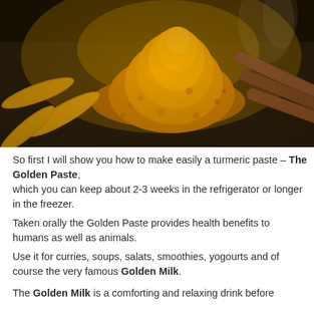[Figure (photo): Photograph of a pile of golden turmeric powder with turmeric roots on the left and cinnamon sticks on the right, on a dark surface with warm golden lighting.]
So first I will show you how to make easily a turmeric paste – The Golden Paste, which you can keep about 2-3 weeks in the refrigerator or longer in the freezer. Taken orally the Golden Paste provides health benefits to humans as well as animals. Use it for curries, soups, salats, smoothies, yogourts and of course the very famous Golden Milk. The Golden Milk is a comforting and relaxing drink before